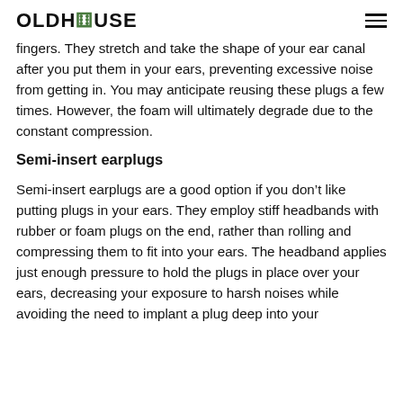OLDHOUSE
fingers. They stretch and take the shape of your ear canal after you put them in your ears, preventing excessive noise from getting in. You may anticipate reusing these plugs a few times. However, the foam will ultimately degrade due to the constant compression.
Semi-insert earplugs
Semi-insert earplugs are a good option if you don’t like putting plugs in your ears. They employ stiff headbands with rubber or foam plugs on the end, rather than rolling and compressing them to fit into your ears. The headband applies just enough pressure to hold the plugs in place over your ears, decreasing your exposure to harsh noises while avoiding the need to implant a plug deep into your